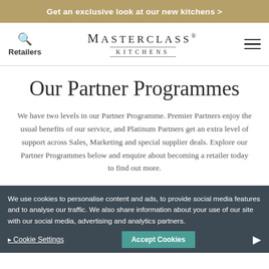Get an exclusive look at our new kitchens >
[Figure (logo): Masterclass Kitchens logo with search icon and Retailers label on left, hamburger menu on right]
Our Partner Programmes
We have two levels in our Partner Programme. Premier Partners enjoy the usual benefits of our service, and Platinum Partners get an extra level of support across Sales, Marketing and special supplier deals. Explore our Partner Programmes below and enquire about becoming a retailer today to find out more.
We use cookies to personalise content and ads, to provide social media features and to analyse our traffic. We also share information about your use of our site with our social media, advertising and analytics partners.